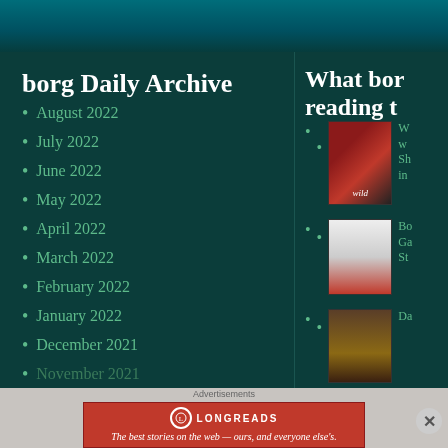borg Daily Archive
August 2022
July 2022
June 2022
May 2022
April 2022
March 2022
February 2022
January 2022
December 2021
What bor reading t
[Figure (photo): Book cover for Wild]
W... w... Sh... in...
[Figure (photo): Book cover, second entry]
Bo... Ga... St...
[Figure (photo): Book cover, third entry]
Da...
Advertisements
[Figure (logo): Longreads banner: The best stories on the web — ours, and everyone else's.]